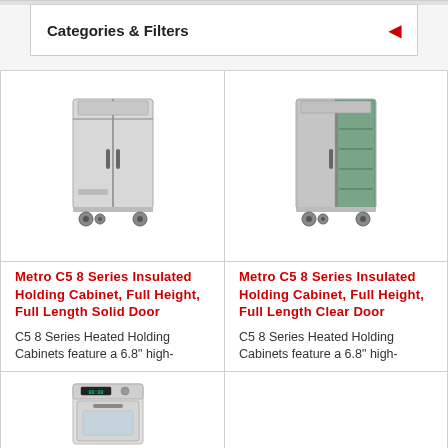Categories & Filters
[Figure (photo): Metro C5 8 Series Insulated Holding Cabinet, Full Height, Full Length Solid Door - grey cabinet on wheels]
Metro C5 8 Series Insulated Holding Cabinet, Full Height, Full Length Solid Door
C5 8 Series Heated Holding Cabinets feature a 6.8" high-
[Figure (photo): Metro C5 8 Series Insulated Holding Cabinet, Full Height, Full Length Clear Door - cabinet with green/clear door on wheels]
Metro C5 8 Series Insulated Holding Cabinet, Full Height, Full Length Clear Door
C5 8 Series Heated Holding Cabinets feature a 6.8" high-
[Figure (photo): Partial view of another Metro holding cabinet product at bottom left]